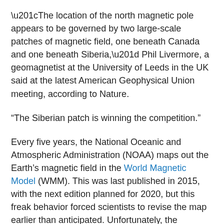“The location of the north magnetic pole appears to be governed by two large-scale patches of magnetic field, one beneath Canada and one beneath Siberia,” Phil Livermore, a geomagnetist at the University of Leeds in the UK said at the latest American Geophysical Union meeting, according to Nature.
“The Siberian patch is winning the competition.”
Every five years, the National Oceanic and Atmospheric Administration (NOAA) maps out the Earth’s magnetic field in the World Magnetic Model (WMM). This was last published in 2015, with the next edition planned for 2020, but this freak behavior forced scientists to revise the map earlier than anticipated. Unfortunately, the revamped WMM was supposed to be released on January 15, but it’s been postponed until at least January 30 due to the ongoing government shutdown.
Earth’s magnetic field is created by molten iron in its core swirling around through convection currents. It’s a fairly...